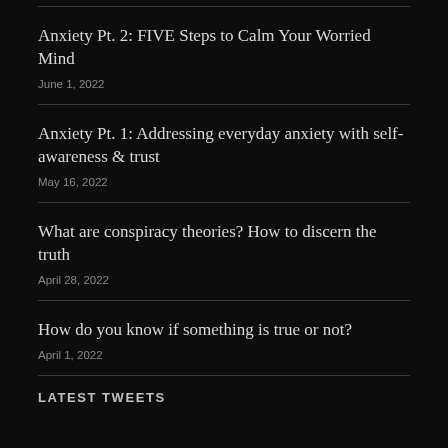Anxiety Pt. 2: FIVE Steps to Calm Your Worried Mind
June 1, 2022
Anxiety Pt. 1: Addressing everyday anxiety with self-awareness & trust
May 16, 2022
What are conspiracy theories? How to discern the truth
April 28, 2022
How do you know if something is true or not?
April 1, 2022
LATEST TWEETS